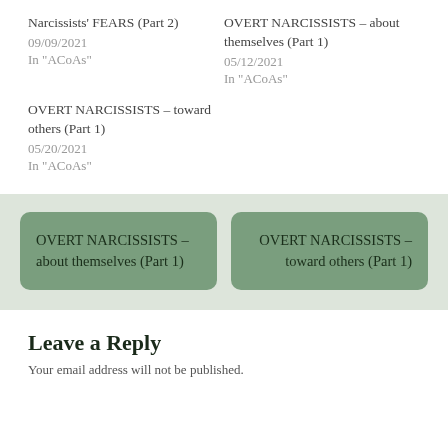Narcissists' FEARS (Part 2)
09/09/2021
In "ACoAs"
OVERT NARCISSISTS – about themselves (Part 1)
05/12/2021
In "ACoAs"
OVERT NARCISSISTS – toward others (Part 1)
05/20/2021
In "ACoAs"
OVERT NARCISSISTS – about themselves (Part 1)
OVERT NARCISSISTS – toward others (Part 1)
Leave a Reply
Your email address will not be published.